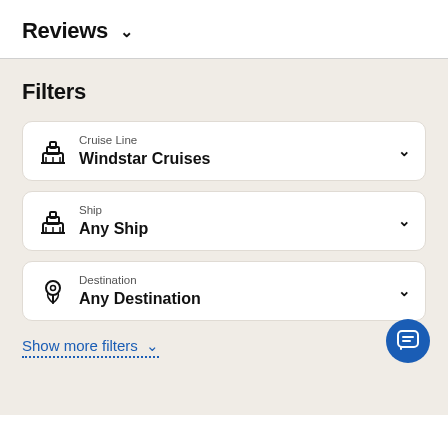Reviews ∨
Filters
Cruise Line
Windstar Cruises
Ship
Any Ship
Destination
Any Destination
Show more filters ∨